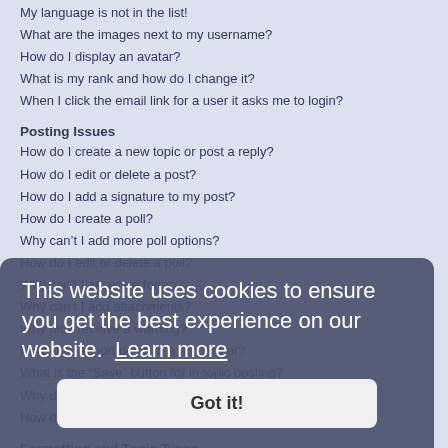My language is not in the list!
What are the images next to my username?
How do I display an avatar?
What is my rank and how do I change it?
When I click the email link for a user it asks me to login?
Posting Issues
How do I create a new topic or post a reply?
How do I edit or delete a post?
How do I add a signature to my post?
How do I create a poll?
Why can’t I add more poll options?
How do I edit or delete a poll?
Why can’t I access a forum?
Why can’t I add attachments?
Why did I receive a warning?
How can I report posts to a moderator?
What is the “Save” button for in topic posting?
Why does my post need to be approved?
How do I bump my topic?
Formatting and Topic Types
What is BBCode?
Can I use HTML?
What are Smilies?
Can I post images?
What are global announcements?
What are announcements?
What are sticky topics?
This website uses cookies to ensure you get the best experience on our website. Learn more
Got it!